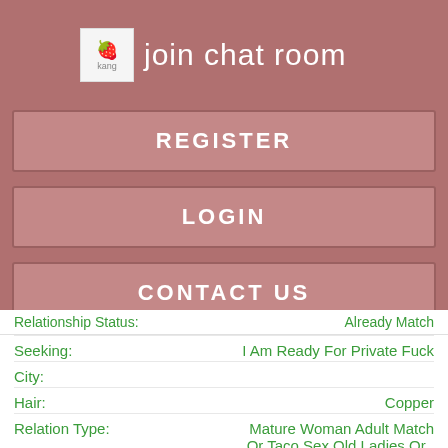join chat room
REGISTER
LOGIN
CONTACT US
Relationship Status:  Already Match
Seeking:  I Am Ready For Private Fuck
City:
Hair:  Copper
Relation Type:  Mature Woman Adult Match Or Taco Sex Old Ladies Or .